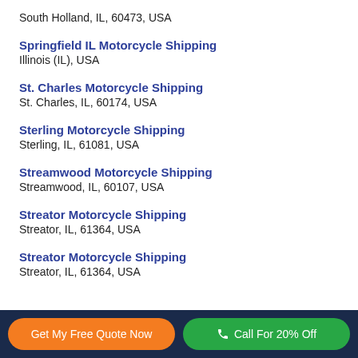South Holland, IL, 60473, USA
Springfield IL Motorcycle Shipping
Illinois (IL), USA
St. Charles Motorcycle Shipping
St. Charles, IL, 60174, USA
Sterling Motorcycle Shipping
Sterling, IL, 61081, USA
Streamwood Motorcycle Shipping
Streamwood, IL, 60107, USA
Streator Motorcycle Shipping
Streator, IL, 61364, USA
Streator Motorcycle Shipping
Streator, IL, 61364, USA
Get My Free Quote Now   Call For 20% Off